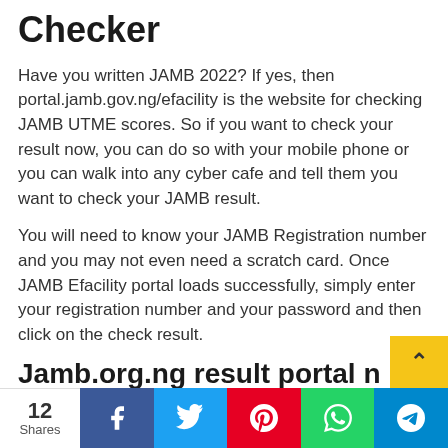Checker
Have you written JAMB 2022? If yes, then portal.jamb.gov.ng/efacility is the website for checking JAMB UTME scores. So if you want to check your result now, you can do so with your mobile phone or you can walk into any cyber cafe and tell them you want to check your JAMB result.
You will need to know your JAMB Registration number and you may not even need a scratch card. Once JAMB Efacility portal loads successfully, simply enter your registration number and your password and then click on the check result.
Jamb.org.ng result portal n
12 Shares | Facebook | Twitter | Pinterest | WhatsApp | Telegram